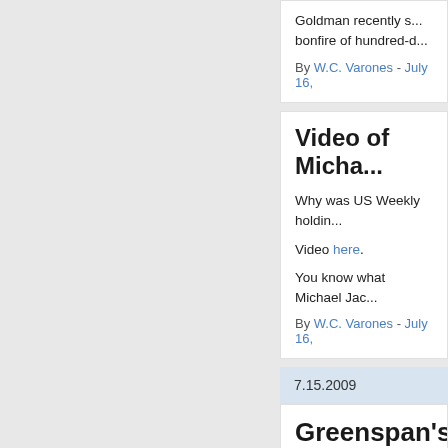Goldman recently... bonfire of hundred-d...
By W.C. Varones - July 16,...
Video of Micha...
Why was US Weekly holdin...
Video here.
You know what Michael Jac...
By W.C. Varones - July 16,...
7.15.2009
Greenspan's B... Charlene Aben...
Body Count goes to Vegas!...